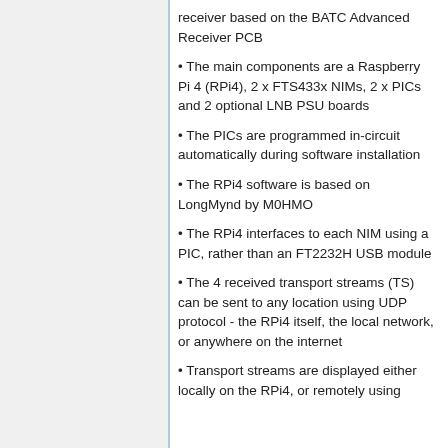receiver based on the BATC Advanced Receiver PCB
The main components are a Raspberry Pi 4 (RPi4), 2 x FTS433x NIMs, 2 x PICs and 2 optional LNB PSU boards
The PICs are programmed in-circuit automatically during software installation
The RPi4 software is based on LongMynd by M0HMO
The RPi4 interfaces to each NIM using a PIC, rather than an FT2232H USB module
The 4 received transport streams (TS) can be sent to any location using UDP protocol - the RPi4 itself, the local network, or anywhere on the internet
Transport streams are displayed either locally on the RPi4, or remotely using